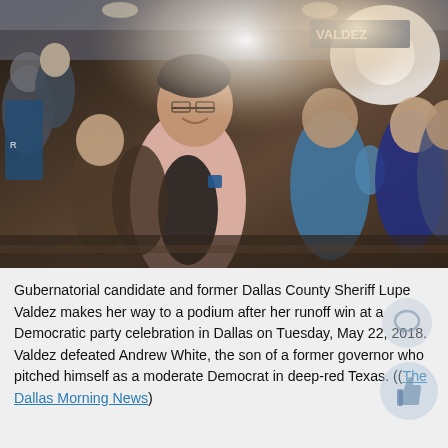[Figure (photo): Gubernatorial candidate and former Dallas County Sheriff Lupe Valdez walks through a crowd of cheering supporters at a Democratic party celebration event. She is wearing a pink blazer and a blue Texas-shaped campaign pin. Supporters clap and high-five her as she makes her way to the podium.]
Gubernatorial candidate and former Dallas County Sheriff Lupe Valdez makes her way to a podium after her runoff win at a Democratic party celebration in Dallas on Tuesday, May 22, 2018. Valdez defeated Andrew White, the son of a former governor who pitched himself as a moderate Democrat in deep-red Texas. ((The Dallas Morning News)